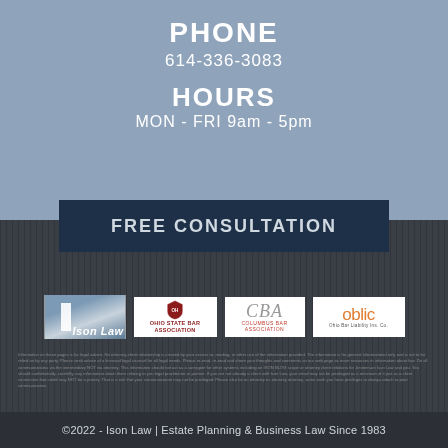PHONE
614-336-3083
HOURS
MON - FRI 9am - 5pm
FREE CONSULTATION
[Figure (logo): Ison Law logo with pillar graphic]
[Figure (logo): Ohio State Bar Association logo]
[Figure (logo): CBA logo]
[Figure (logo): oblic logo]
Information on these pages is for legal advice. No attorney-client relationship is created by your access to, reading, or other use of the information provided. The information is for general informational only and is not to be relied on by any party. Please seek advice of a licensed legal counsel for all legal needs. Please re-read, re-read and share your thoughts and comments on our web page as more resources in information about law. Do all communications via the intermediary NOT via attorney. This information should not act as a surrogate for other systems including an ISON BLOG scope or attorney client relations for Jimmerson Ison Law and you. You should confidentially, carefully, any information about them relating to you legal practitioner or partner. If you are not already a client with Ison Law, your email may not be privileged as a minimum of it just as a client connection that could may NOT be a priority. That is a risk that your communication may not be privileged. Please also be an attorney as attorney attorney, some work you have privileges to always attach to prior communication.
©2022 - Ison Law | Estate Planning & Business Law Since 1983